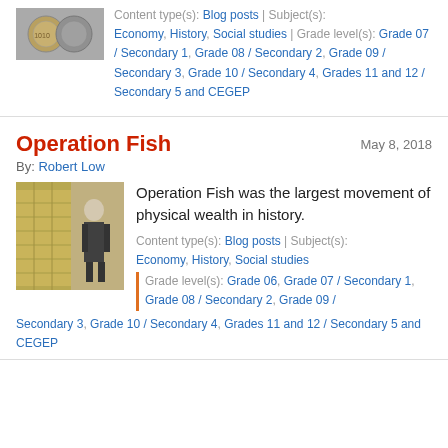[Figure (photo): Thumbnail image of coins at top of page]
Content type(s): Blog posts | Subject(s): Economy, History, Social studies | Grade level(s): Grade 07 / Secondary 1, Grade 08 / Secondary 2, Grade 09 / Secondary 3, Grade 10 / Secondary 4, Grades 11 and 12 / Secondary 5 and CEGEP
Operation Fish
May 8, 2018
By: Robert Low
[Figure (photo): Photo of a person standing next to stacks of gold bars in a vault]
Operation Fish was the largest movement of physical wealth in history.
Content type(s): Blog posts | Subject(s): Economy, History, Social studies | Grade level(s): Grade 06, Grade 07 / Secondary 1, Grade 08 / Secondary 2, Grade 09 / Secondary 3, Grade 10 / Secondary 4, Grades 11 and 12 / Secondary 5 and CEGEP